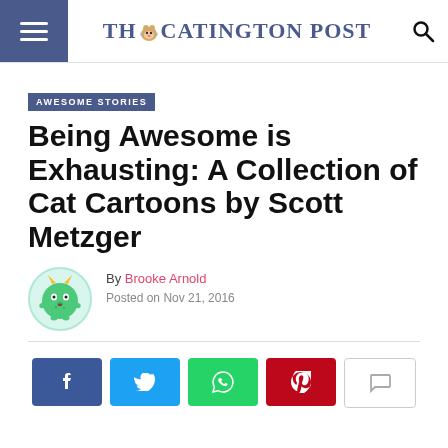THE CATINGTON POST
AWESOME STORIES
Being Awesome is Exhausting: A Collection of Cat Cartoons by Scott Metzger
By Brooke Arnold
Posted on Nov 21, 2016
[Figure (illustration): Green monster cartoon avatar for author Brooke Arnold]
[Figure (infographic): Social sharing buttons: Facebook, Twitter, WhatsApp, Pinterest, Comment]